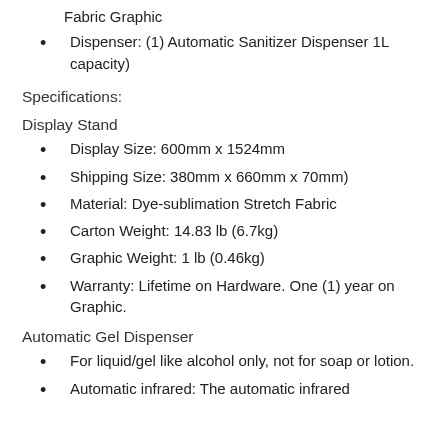Fabric Graphic
Dispenser: (1) Automatic Sanitizer Dispenser 1L capacity)
Specifications:
Display Stand
Display Size: 600mm x 1524mm
Shipping Size: 380mm x 660mm x 70mm)
Material: Dye-sublimation Stretch Fabric
Carton Weight: 14.83 lb (6.7kg)
Graphic Weight: 1 lb (0.46kg)
Warranty: Lifetime on Hardware. One (1) year on Graphic.
Automatic Gel Dispenser
For liquid/gel like alcohol only, not for soap or lotion.
Automatic infrared: The automatic infrared